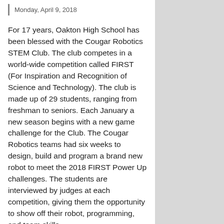Monday, April 9, 2018
For 17 years, Oakton High School has been blessed with the Cougar Robotics STEM Club. The club competes in a world-wide competition called FIRST (For Inspiration and Recognition of Science and Technology). The club is made up of 29 students, ranging from freshman to seniors. Each January a new season begins with a new game challenge for the Club. The Cougar Robotics teams had six weeks to design, build and program a brand new robot to meet the 2018 FIRST Power Up challenges. The students are interviewed by judges at each competition, giving them the opportunity to show off their robot, programming, and team skills.
The Cougars have battled it out in both Virginia and Maryland, winning the FIRST Chesapeake Southern Maryland Tournament. The programming team was rewarded for their hard work with the Innovation in Control award, which celebrates an innovative control system or